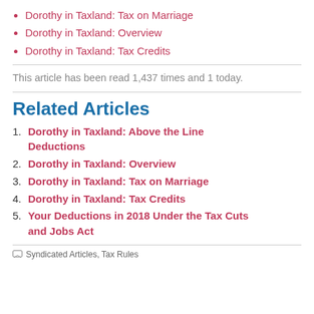Dorothy in Taxland: Tax on Marriage
Dorothy in Taxland: Overview
Dorothy in Taxland: Tax Credits
This article has been read 1,437 times and 1 today.
Related Articles
1. Dorothy in Taxland: Above the Line Deductions
2. Dorothy in Taxland: Overview
3. Dorothy in Taxland: Tax on Marriage
4. Dorothy in Taxland: Tax Credits
5. Your Deductions in 2018 Under the Tax Cuts and Jobs Act
Syndicated Articles, Tax Rules